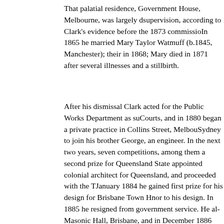That palatial residence, Government House, Melbourne, was largely d... supervision, according to Clark's evidence before the 1873 commissio... In 1865 he married Mary Taylor Watmuff (b.1845, Manchester); their ... in 1868; Mary died in 1871 after several illnesses and a stillbirth.
After his dismissal Clark acted for the Public Works Department as su... Courts, and in 1880 began a private practice in Collins Street, Melbou... Sydney to join his brother George, an engineer. In the next two years, ... seven competitions, among them a second prize for Queensland State ... appointed colonial architect for Queensland, and proceeded with the T... January 1884 he gained first prize for his design for Brisbane Town H... nor to his design. In 1885 he resigned from government service. He al... Masonic Hall, Brisbane, and in December 1886 was elected grand ma... private practice in Brisbane until 1889 and then took his 21-year-old s... America and Europe.
Returning to Brisbane in 1891 he probably found commissions difficu... and then to Perth to act for the Western Australian Works Department... asylums. His son meanwhile borrowed money from an aunt and retur... London firm. In 1896 father and son rejoined in Perth, formed a partne... competitions: for extensions to Fremantle Town Hall (1897); for St Ar... (1897); and for the Children's Hospital, Perth (1898). In 1899 the...